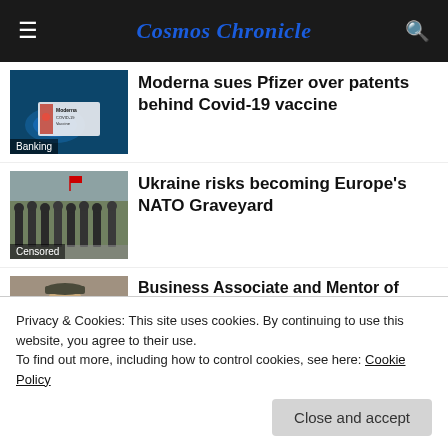Cosmos Chronicle
[Figure (photo): Close-up of a Moderna COVID-19 vaccine card/label, blue-toned photo]
Moderna sues Pfizer over patents behind Covid-19 vaccine
[Figure (photo): Military soldiers marching in formation on a street]
Ukraine risks becoming Europe's NATO Graveyard
[Figure (photo): Man wearing sunglasses and a white t-shirt outdoors]
Business Associate and Mentor of Epstein found Dead in his Apartment
Privacy & Cookies: This site uses cookies. By continuing to use this website, you agree to their use.
To find out more, including how to control cookies, see here: Cookie Policy
Close and accept